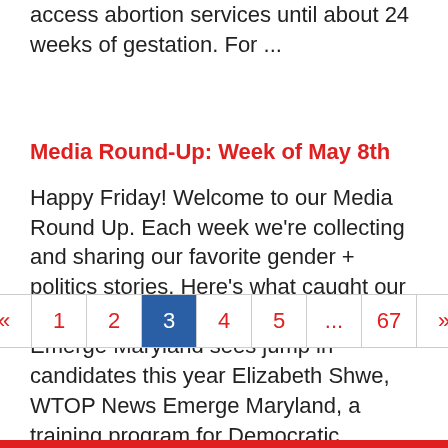access abortion services until about 24 weeks of gestation. For ...
Media Round-Up: Week of May 8th
Happy Friday! Welcome to our Media Round Up. Each week we're collecting and sharing our favorite gender + politics stories. Here's what caught our eye this week:   Women on the ballot: Emerge Maryland sees jump in candidates this year Elizabeth Shwe, WTOP News Emerge Maryland, a training program for Democratic women, has seen an ...
[Figure (other): Pagination control showing pages: « 1 2 [3] 4 5 ... 67 »]